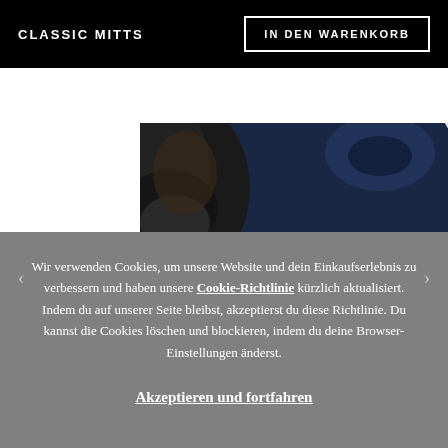CLASSIC MITTS
IN DEN WARENKORB
[Figure (photo): Close-up of black leather boxing/martial arts mitts worn on a person in a navy blue top, showing padded striking surfaces and stitched grip openings.]
Wir verwenden Cookies, um unsere Website und dein Einkaufserlebnis zu verbessern und haben unsere Cookie-Richtlinie kürzlich aktualisiert. Indem du auf unserer Seite bleibst, akzeptierst du diese Richtlinie. Du kannst die Cookies löschen und blockieren, indem du deine Browser-Einstellungen änderst.
Akzeptieren und fortfahren